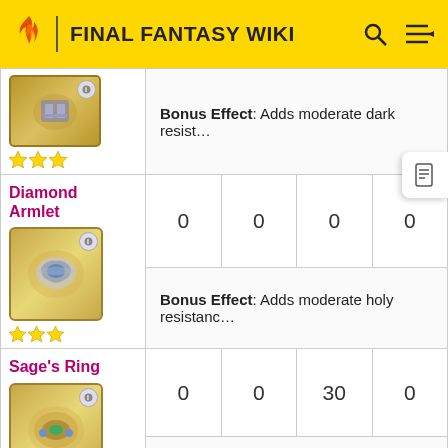FINAL FANTASY WIKI
| Item |  |  |  |  |
| --- | --- | --- | --- | --- |
| (item image) | Bonus Effect: Adds moderate dark resist… |
| Diamond Armlet | 0 | 0 | 0 | 0 |
| Bonus Effect: Adds moderate holy resistance… |
| Sage's Ring | 0 | 0 | 30 | 0 |
| Celestriad | 0 | 0 | 0 | 0 |